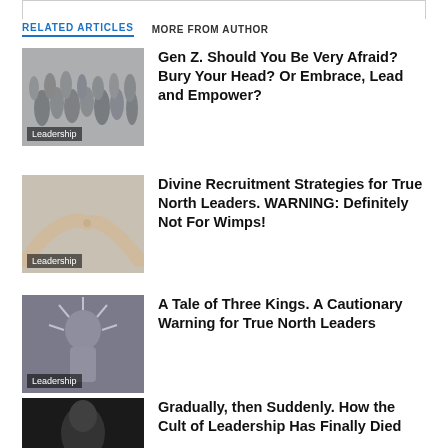RELATED ARTICLES   MORE FROM AUTHOR
[Figure (photo): Crowd of people, Leadership tag]
Gen Z. Should You Be Very Afraid? Bury Your Head? Or Embrace, Lead and Empower?
[Figure (photo): Two hands reaching toward each other, Leadership tag]
Divine Recruitment Strategies for True North Leaders. WARNING: Definitely Not For Wimps!
[Figure (photo): Statue with crown and rays, Leadership tag]
A Tale of Three Kings. A Cautionary Warning for True North Leaders
[Figure (photo): Dark portrait of a person]
Gradually, then Suddenly. How the Cult of Leadership Has Finally Died